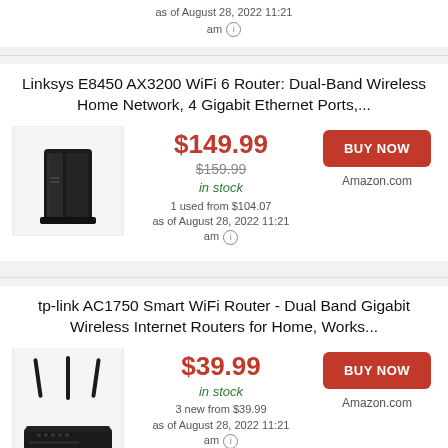as of August 28, 2022 11:21 am ⓘ
Linksys E8450 AX3200 WiFi 6 Router: Dual-Band Wireless Home Network, 4 Gigabit Ethernet Ports,...
[Figure (photo): Black Linksys E8450 WiFi 6 router standing vertically]
$149.99 $159.99 in stock 1 used from $104.07 as of August 28, 2022 11:21 am ⓘ
BUY NOW Amazon.com
tp-link AC1750 Smart WiFi Router - Dual Band Gigabit Wireless Internet Routers for Home, Works...
[Figure (photo): Black tp-link AC1750 WiFi router with three antennas]
$39.99 in stock 3 new from $39.99 as of August 28, 2022 11:21 am ⓘ
BUY NOW Amazon.com